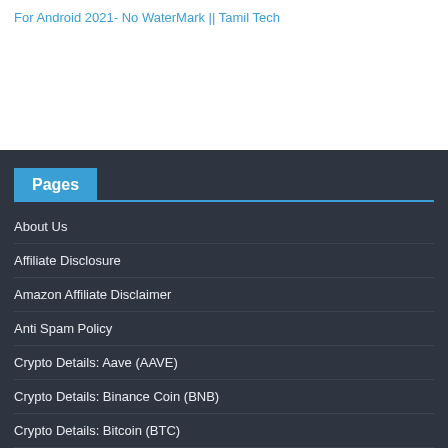For Android 2021- No WaterMark || Tamil Tech
Pages
About Us
Affiliate Disclosure
Amazon Affiliate Disclaimer
Anti Spam Policy
Crypto Details: Aave (AAVE)
Crypto Details: Binance Coin (BNB)
Crypto Details: Bitcoin (BTC)
Crypto Details: Bitcoin Cash (BCH)
Crypto Details: Cardano (ADA)